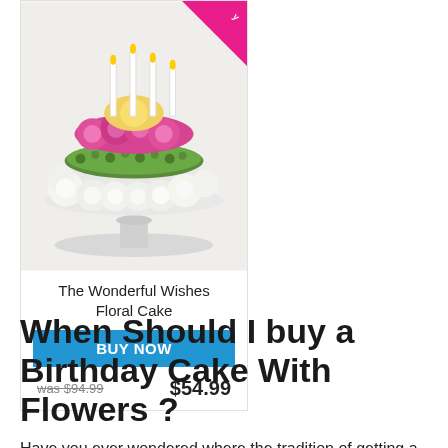[Figure (photo): Floral cake arrangement with pink and white flowers on a white cake stand, with a pink sale badge in the top right corner]
The Wonderful Wishes Floral Cake
BUY NOW
was $94.99   $54.99
When Should I buy a Birthday Cake With Flowers ?
Have you ever wondered where the tradition of getting a birthday cake comes from? Undoubtedly, for many of us, the first thing that comes to mind when mentioning